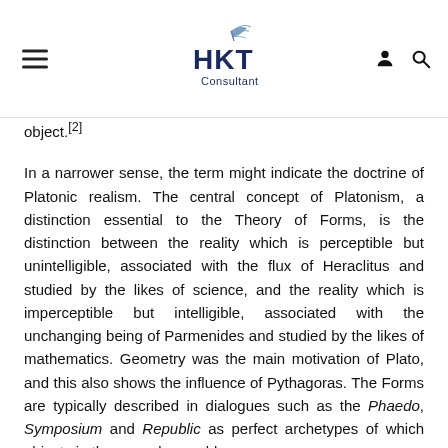HKT Consultant
object.[2]
In a narrower sense, the term might indicate the doctrine of Platonic realism. The central concept of Platonism, a distinction essential to the Theory of Forms, is the distinction between the reality which is perceptible but unintelligible, associated with the flux of Heraclitus and studied by the likes of science, and the reality which is imperceptible but intelligible, associated with the unchanging being of Parmenides and studied by the likes of mathematics. Geometry was the main motivation of Plato, and this also shows the influence of Pythagoras. The Forms are typically described in dialogues such as the Phaedo, Symposium and Republic as perfect archetypes of which objects in the everyday world